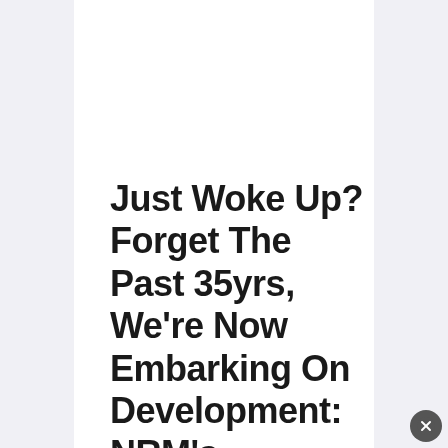Just Woke Up? Forget The Past 35yrs, We're Now Embarking On Development: NRM's Namayanija